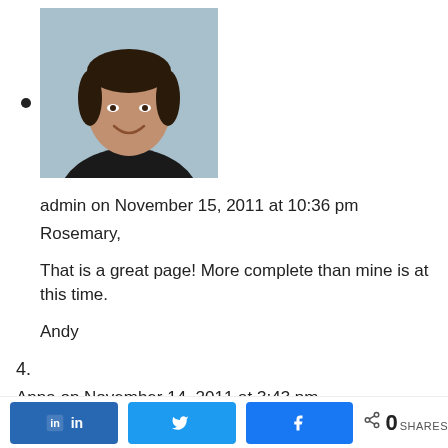[Figure (photo): Avatar photo of admin user — man smiling outdoors with sky background]
admin on November 15, 2011 at 10:36 pm
Rosemary,

That is a great page! More complete than mine is at this time.

Andy
4.
Anna on November 14, 2011 at 3:43 pm
Thank you for sharing your update concerning...
[Figure (infographic): Social share bar with LinkedIn, Twitter, Facebook buttons and 0 SHARES count]